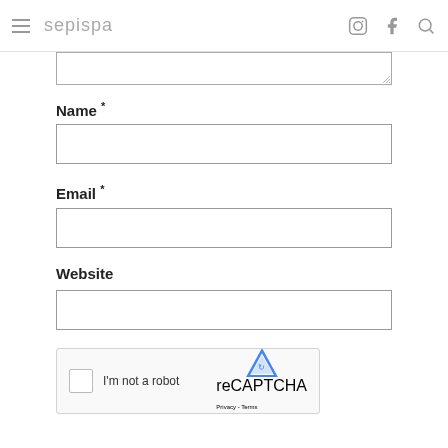sepispa
Name *
Email *
Website
[Figure (other): reCAPTCHA widget with checkbox 'I'm not a robot' and Google reCAPTCHA logo]